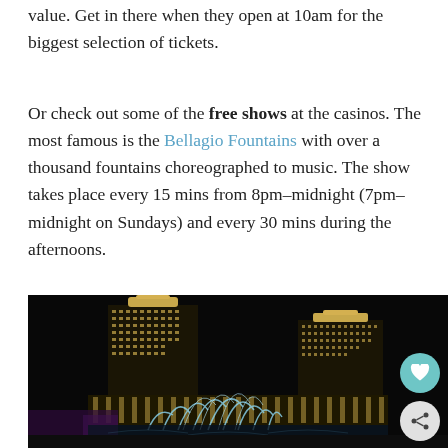value. Get in there when they open at 10am for the biggest selection of tickets.
Or check out some of the free shows at the casinos. The most famous is the Bellagio Fountains with over a thousand fountains choreographed to music. The show takes place every 15 mins from 8pm–midnight (7pm–midnight on Sundays) and every 30 mins during the afternoons.
[Figure (photo): Night photo of the Bellagio hotel and casino in Las Vegas with illuminated fountains in the foreground and the lit hotel towers against a dark sky]